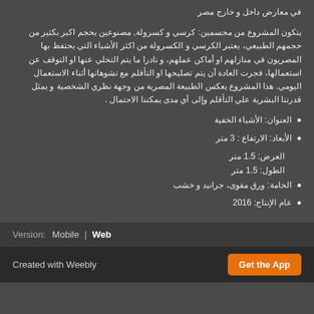في معارض داخل و خارج مصر
يتكون المشروع من مجسمين: كرسي و كسرولة, مصنوعين بحجم اكبر بكثير من حجمهم الطبيعي، يعتبر الكرسي و الكسرولة من اكثر الأشياء التي يحتفظ بها المصريون في منازلهم او أماكن عملهم، و نادرا ما يتم التخلي عنها او التوقف عن استعمالها، فجرت العادة أن يتم تصليحها او التأقلم مع تشوهاتها أثناء الاستعمال اليومي. هذا المشروع يعكس الطبيعة المصرية من وجهة نظري الشخصية و يمثل قدرتنا البشرية علي التأقلم وإلى أي مدى يمكننا الاحتمال .
العنوان: الأشياء الخفية
الأبعاد: الارتفاع : 3 متر
العرض: 1.5 متر
الطول: 1.5 متر
الخامة: ورق مقوى، جرانيد و خشب
عام الإنتاج: 2016
Version: Mobile | Web
Created with Weebly  Get the App